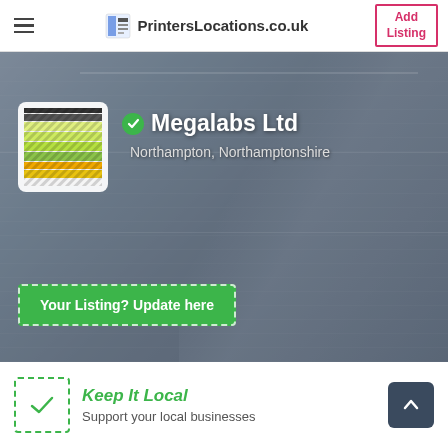PrintersLocations.co.uk | Add Listing
[Figure (screenshot): Hero banner with blurred background image of printed catalogues and magazines spread on a table, with hands browsing through pages. Contains Megalabs Ltd business logo (coloured diagonal stripes), verified checkmark, business name and location overlay, and a green dashed 'Your Listing? Update here' button.]
Megalabs Ltd
Northampton, Northamptonshire
Your Listing? Update here
Keep It Local
Support your local businesses